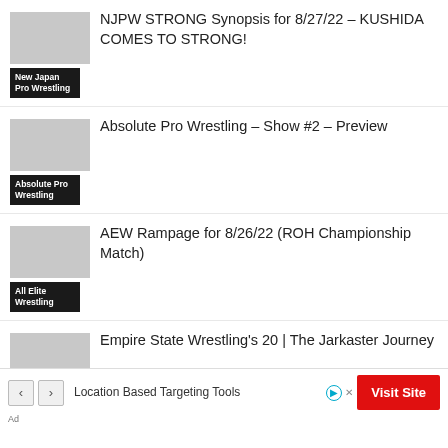NJPW STRONG Synopsis for 8/27/22 – KUSHIDA COMES TO STRONG!
New Japan Pro Wrestling
Absolute Pro Wrestling – Show #2 – Preview
Absolute Pro Wrestling
AEW Rampage for 8/26/22 (ROH Championship Match)
All Elite Wrestling
Empire State Wrestling's 20 | The Jarkaster Journey
Blogs
Location Based Targeting Tools
Visit Site
Ad